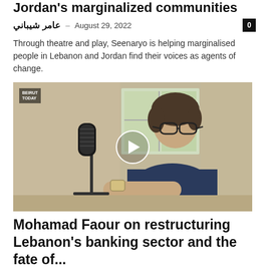Jordan's marginalized communities
عامر شيباني – August 29, 2022
Through theatre and play, Seenaryo is helping marginalised people in Lebanon and Jordan find their voices as agents of change.
[Figure (photo): A man with glasses and curly hair sits speaking into a podcast microphone in a studio setting. A 'Beirut Today' watermark is visible in the upper left. A play button overlay is centered on the image.]
Mohamad Faour on restructuring Lebanon's banking sector and the fate of...
Beirut Today – August 27, 2022
And the fate of depositors' savings.